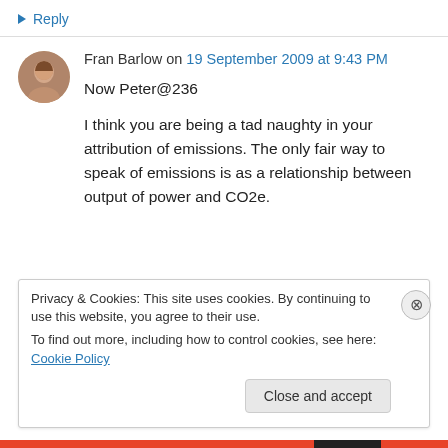↳ Reply
Fran Barlow on 19 September 2009 at 9:43 PM
Now Peter@236

I think you are being a tad naughty in your attribution of emissions. The only fair way to speak of emissions is as a relationship between output of power and CO2e.
Privacy & Cookies: This site uses cookies. By continuing to use this website, you agree to their use.
To find out more, including how to control cookies, see here: Cookie Policy
Close and accept